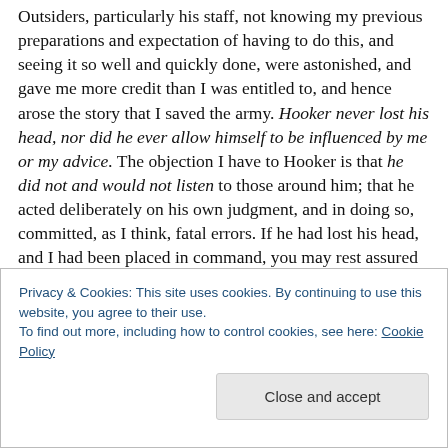Outsiders, particularly his staff, not knowing my previous preparations and expectation of having to do this, and seeing it so well and quickly done, were astonished, and gave me more credit than I was entitled to, and hence arose the story that I saved the army. Hooker never lost his head, nor did he ever allow himself to be influenced by me or my advice. The objection I have to Hooker is that he did not and would not listen to those around him; that he acted deliberately on his own judgment, and in doing so, committed, as I think, fatal errors. If he had lost his head, and I had been placed in command, you may rest assured
Privacy & Cookies: This site uses cookies. By continuing to use this website, you agree to their use.
To find out more, including how to control cookies, see here: Cookie Policy